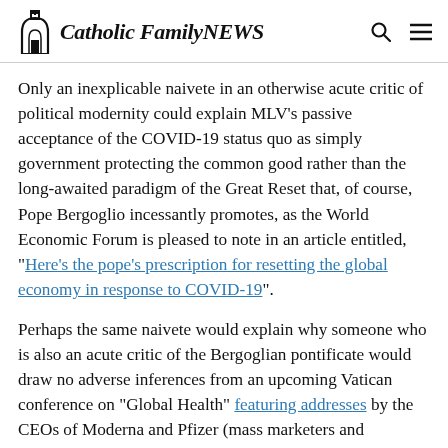Catholic Family NEWS
Only an inexplicable naivete in an otherwise acute critic of political modernity could explain MLV's passive acceptance of the COVID-19 status quo as simply government protecting the common good rather than the long-awaited paradigm of the Great Reset that, of course, Pope Bergoglio incessantly promotes, as the World Economic Forum is pleased to note in an article entitled, "Here's the pope's prescription for resetting the global economy in response to COVID-19".
Perhaps the same naivete would explain why someone who is also an acute critic of the Bergoglian pontificate would draw no adverse inferences from an upcoming Vatican conference on "Global Health" featuring addresses by the CEOs of Moderna and Pfizer (mass marketers and distributors of abortion-